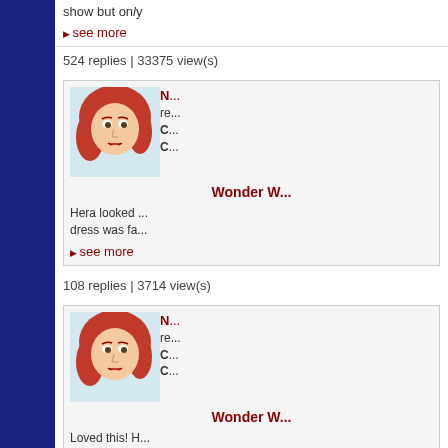show but only
see more
524 replies | 33375 view(s)
[Figure (illustration): Comic-style avatar of a red-haired woman (Wonder Woman character)]
N... replied. C... C... Wonder W...
Hera looked ... dress was fa...
see more
108 replies | 3714 view(s)
[Figure (illustration): Comic-style avatar of a red-haired woman (Wonder Woman character)]
N... replied. C... C... Wonder W...
Loved this! H... that she's be... the past deca...
see more
108 replies | 3714 view(s)